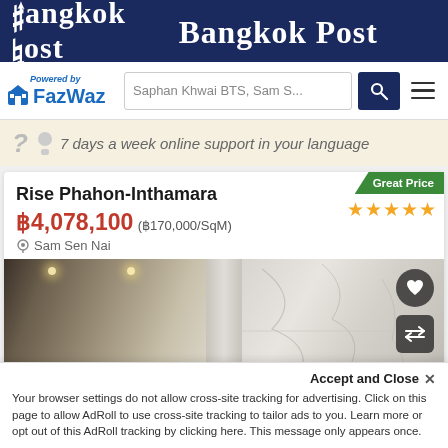Bangkok Post
[Figure (screenshot): FazWaz powered-by logo with house icon, search bar showing 'Saphan Khwai BTS, Sam S...', search button, and hamburger menu]
7 days a week online support in your language
Great Price
Rise Phahon-Inthamara
★★★★★
฿4,078,100 (฿170,000/SqM)
Sam Sen Nai
[Figure (photo): Interior photo of Rise Phahon-Inthamara condominium showing modern lobby/living area with marble walls and ceiling lights]
Accept and Close ✕
Your browser settings do not allow cross-site tracking for advertising. Click on this page to allow AdRoll to use cross-site tracking to tailor ads to you. Learn more or opt out of this AdRoll tracking by clicking here. This message only appears once.